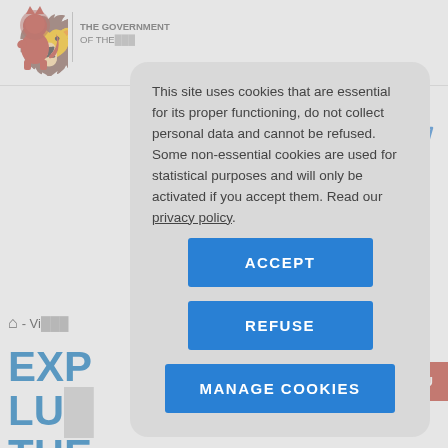THE GOVERNMENT OF THE...
This site uses cookies that are essential for its proper functioning, do not collect personal data and cannot be refused. Some non-essential cookies are used for statistical purposes and will only be activated if you accept them. Read our privacy policy.
ACCEPT
REFUSE
MANAGE COOKIES
- Vis...
EXP LUX THE...
MENU